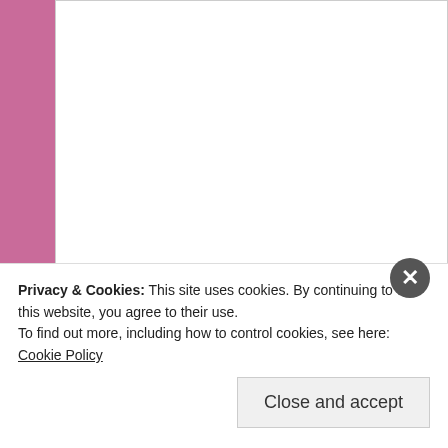[Figure (screenshot): Web comment form with Name, Email, Website input fields and Post Comment button on a pink/mauve background. A cookie consent banner overlays the bottom portion.]
Name
Email
Website
Post Comment
Notify me of new comments via email.
Privacy & Cookies: This site uses cookies. By continuing to use this website, you agree to their use.
To find out more, including how to control cookies, see here: Cookie Policy
Close and accept